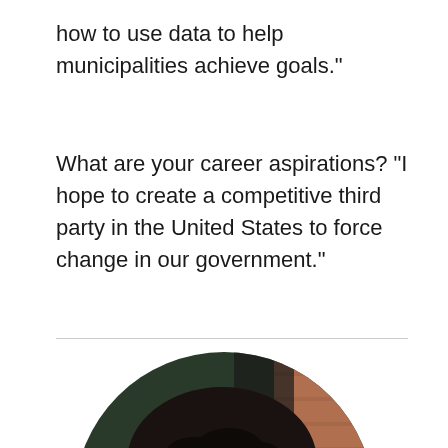how to use data to help municipalities achieve goals."
What are your career aspirations? "I hope to create a competitive third party in the United States to force change in our government."
[Figure (photo): Circular cropped portrait photo of a young man with short curly hair, photographed outdoors near a brick wall with greenery in the background. Only the top half of the face (forehead and hair) is visible within the page frame.]